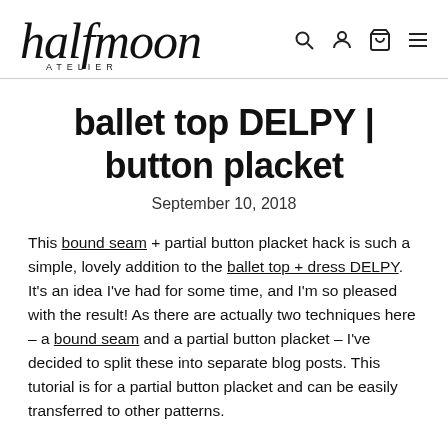[Figure (logo): Halfmoon Atelier logo in script/italic font with ATELIER in spaced caps underneath, plus search, account, cart, and hamburger menu icons on the right]
ballet top DELPY | button placket
September 10, 2018
This bound seam + partial button placket hack is such a simple, lovely addition to the ballet top + dress DELPY. It's an idea I've had for some time, and I'm so pleased with the result! As there are actually two techniques here – a bound seam and a partial button placket – I've decided to split these into separate blog posts. This tutorial is for a partial button placket and can be easily transferred to other patterns.